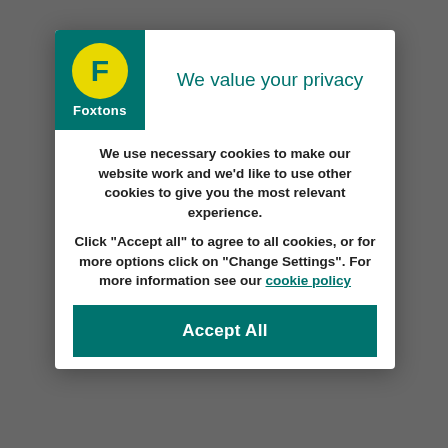[Figure (logo): Foxtons logo: green background with yellow circle containing white F letter and Foxtons text below]
We value your privacy
We use necessary cookies to make our website work and we'd like to use other cookies to give you the most relevant experience.
Click “Accept all” to agree to all cookies, or for more options click on “Change Settings”. For more information see our cookie policy
Accept All